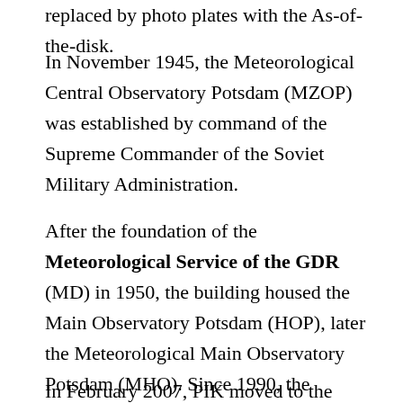replaced by photo plates with the As-of-the-disk.
In November 1945, the Meteorological Central Observatory Potsdam (MZOP) was established by command of the Supreme Commander of the Soviet Military Administration.
After the foundation of the Meteorological Service of the GDR (MD) in 1950, the building housed the Main Observatory Potsdam (HOP), later the Meteorological Main Observatory Potsdam (MHO). Since 1990, the Deutsche Wetterdienst (DWD, German weather service) has been located in this house.
In February 2007, PIK moved to the reconstructed